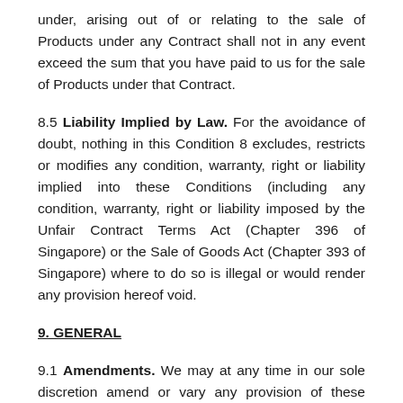under, arising out of or relating to the sale of Products under any Contract shall not in any event exceed the sum that you have paid to us for the sale of Products under that Contract.
8.5 Liability Implied by Law. For the avoidance of doubt, nothing in this Condition 8 excludes, restricts or modifies any condition, warranty, right or liability implied into these Conditions (including any condition, warranty, right or liability imposed by the Unfair Contract Terms Act (Chapter 396 of Singapore) or the Sale of Goods Act (Chapter 393 of Singapore) where to do so is illegal or would render any provision hereof void.
9. GENERAL
9.1 Amendments. We may at any time in our sole discretion amend or vary any provision of these Conditions by publication on the Site. If you do not consent to such variation or amendment, you should not use the Site and/or purchase the Products. If, following such amendment or variation, you continue to use or